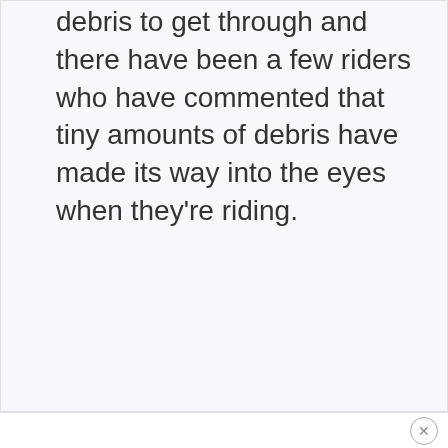debris to get through and there have been a few riders who have commented that tiny amounts of debris have made its way into the eyes when they're riding.